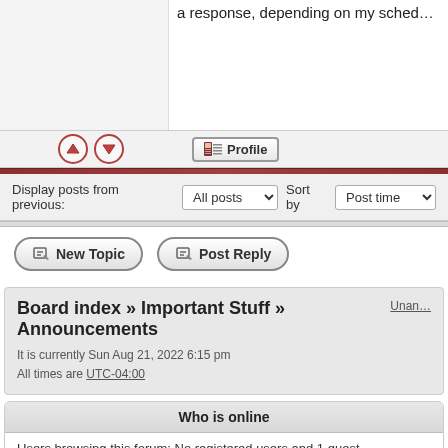a response, depending on my schedule
Display posts from previous: All posts  Sort by Post time
New Topic   Post Reply
Board index » Important Stuff » Announcements
It is currently Sun Aug 21, 2022 6:15 pm
All times are UTC-04:00
Who is online
Users browsing this forum: No registered users and 1 guest
You cannot
You cannot
You cannot